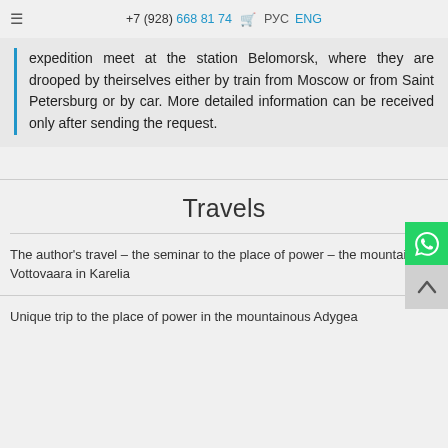+7 (928) 668 81 74   РУС   ENG
expedition meet at the station Belomorsk, where they are drooped by theirselves either by train from Moscow or from Saint Petersburg or by car. More detailed information can be received only after sending the request.
Travels
The author's travel – the seminar to the place of power – the mountain Vottovaara in Karelia
Unique trip to the place of power in the mountainous Adygea